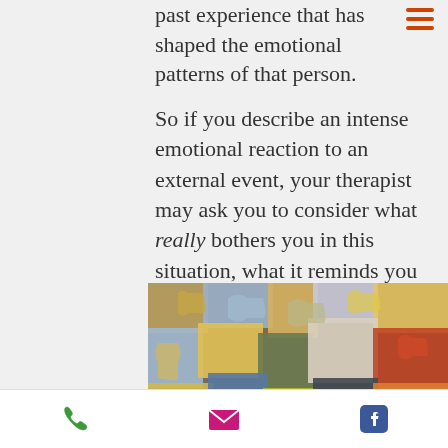past experience that has shaped the emotional patterns of that person.
So if you describe an intense emotional reaction to an external event, your therapist may ask you to consider what really bothers you in this situation, what it reminds you of, and whether these feelings are familiar from somewhere in your past.
[Figure (photo): A pile of colorful jigsaw puzzle pieces scattered and unassembled, photographed from above.]
[Figure (infographic): Bottom navigation bar with phone icon (green), email/envelope icon (pink/magenta), and Facebook icon (blue).]